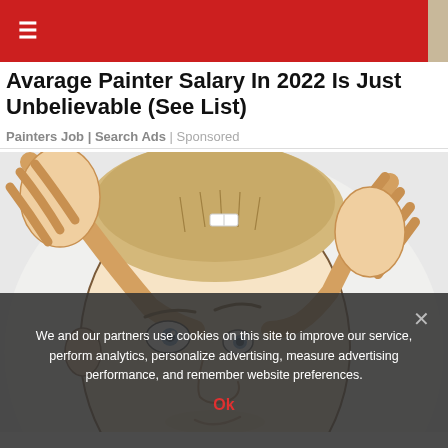≡
Avarage Painter Salary In 2022 Is Just Unbelievable (See List)
Painters Job | Search Ads | Sponsored
[Figure (illustration): Cartoon/sketch illustration of a man with short blond hair grabbing his head with both hands, looking surprised or shocked, with blue eyes, against a light background]
We and our partners use cookies on this site to improve our service, perform analytics, personalize advertising, measure advertising performance, and remember website preferences.
Ok